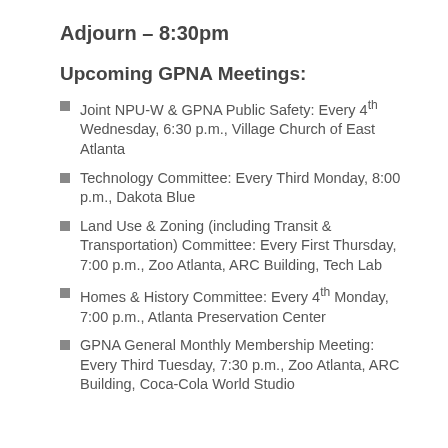Adjourn – 8:30pm
Upcoming GPNA Meetings:
Joint NPU-W & GPNA Public Safety: Every 4th Wednesday, 6:30 p.m., Village Church of East Atlanta
Technology Committee: Every Third Monday, 8:00 p.m., Dakota Blue
Land Use & Zoning (including Transit & Transportation) Committee: Every First Thursday, 7:00 p.m., Zoo Atlanta, ARC Building, Tech Lab
Homes & History Committee: Every 4th Monday, 7:00 p.m., Atlanta Preservation Center
GPNA General Monthly Membership Meeting: Every Third Tuesday, 7:30 p.m., Zoo Atlanta, ARC Building, Coca-Cola World Studio